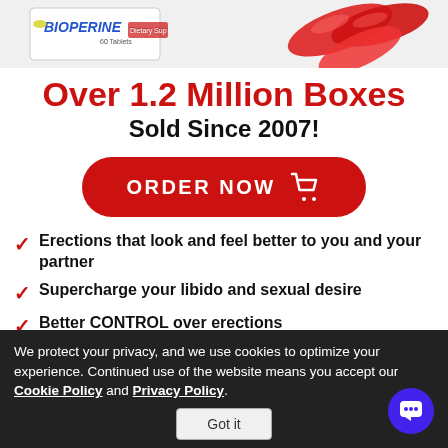[Figure (photo): Product image showing Bioperine supplement box with 60 tablets label, dietary supplement branding, and red capsules to the right]
Over 1.2 Million Boxes Sold Since 2007!
[Figure (other): Red ORDER NOW button with shopping cart icon]
Erections that look and feel better to you and your partner
Supercharge your libido and sexual desire
Better CONTROL over erections
We protect your privacy, and we use cookies to optimize your experience. Continued use of the website means you accept our Cookie Policy and Privacy Policy.
Got it